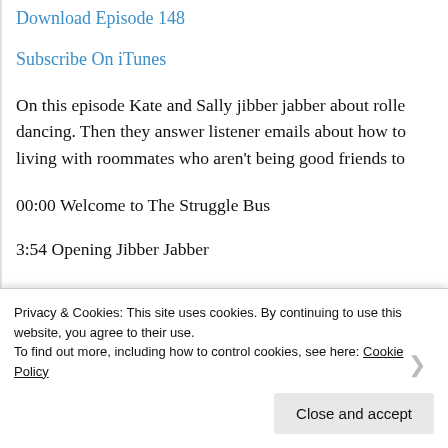Download Episode 148
Subscribe On iTunes
On this episode Kate and Sally jibber jabber about rolle dancing. Then they answer listener emails about how to living with roommates who aren't being good friends to
00:00 Welcome to The Struggle Bus
3:54 Opening Jibber Jabber
18:59 A Thing We Did (for Self-Care)
Privacy & Cookies: This site uses cookies. By continuing to use this website, you agree to their use.
To find out more, including how to control cookies, see here: Cookie Policy
Close and accept